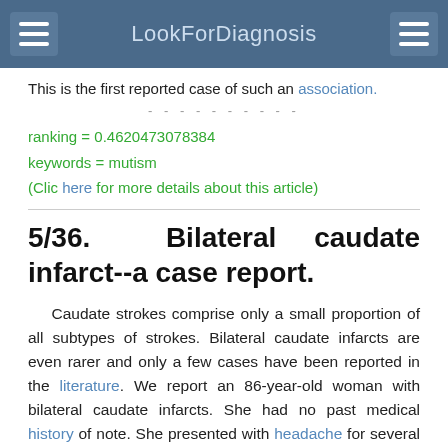LookForDiagnosis
This is the first reported case of such an association.
ranking = 0.4620473078384
keywords = mutism
(Clic here for more details about this article)
5/36. Bilateral caudate infarct--a case report.
Caudate strokes comprise only a small proportion of all subtypes of strokes. Bilateral caudate infarcts are even rarer and only a few cases have been reported in the literature. We report an 86-year-old woman with bilateral caudate infarcts. She had no past medical history of note. She presented with headache for several days and drowsiness on day of admission. Clinical examination revealed abulia, inability to comprehend or verbalize (acute mutism), right-sided neglect and right-sided hemiparesis. Computed tomographic (CT) scan brain revealed decreased attenuation in both heads of